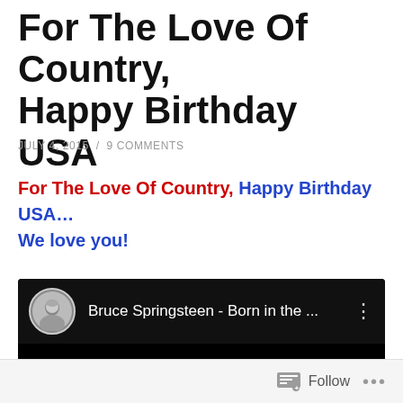For The Love Of Country, Happy Birthday USA
JULY 4, 2015  /  9 COMMENTS
For The Love Of Country, Happy Birthday USA… We love you!
[Figure (screenshot): Embedded YouTube video player showing Bruce Springsteen - Born in the ... with a dark/black video area and the channel avatar thumbnail in the header bar]
Follow ...